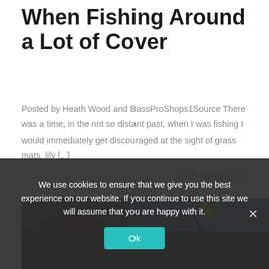When Fishing Around a Lot of Cover
Posted by Heath Wood and BassProShops1Source There was a time, in the not so distant past, when I was fishing I would immediately get discouraged at the sight of grass mats, lily [...]
Read more
[Figure (photo): Partial photo of fishing scene, dark background with blue sky and fishing lure/rod visible]
We use cookies to ensure that we give you the best experience on our website. If you continue to use this site we will assume that you are happy with it.